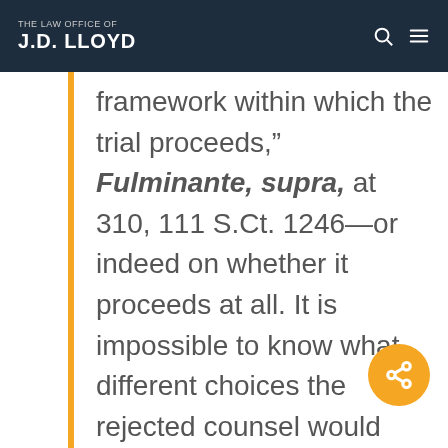THE LAW OFFICE OF J.D. LLOYD
framework within which the trial proceeds,” Fulminante, supra, at 310, 111 S.Ct. 1246—or indeed on whether it proceeds at all. It is impossible to know what different choices the rejected counsel would have made, and then to quantify the impact of those different choices on the outcome of